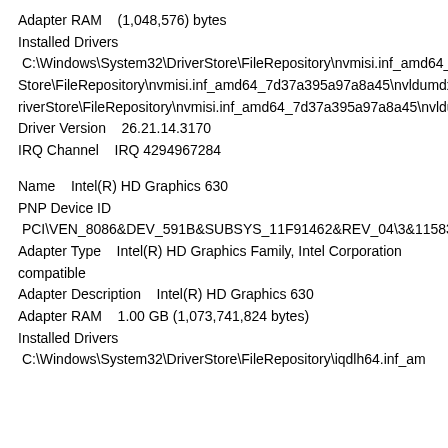Adapter RAM    (1,048,576) bytes
Installed Drivers
C:\Windows\System32\DriverStore\FileRepository\nvmisi.inf_amd64_7d37a395a97a8a45\nvldumdx.dll,C:\Windows\System32\DriverStore\FileRepository\nvmisi.inf_amd64_7d37a395a97a8a45\nvldumdx.dll,C:\Windows\System32\DriverStore\FileRepository\nvmisi.inf_amd64_7d37a395a97a8a45\nvldumdx.dll,C:\Windows\System32\DriverStore\FileRepository\nvmisi.inf_amd64_7d37a395a97a8a45\nvldumdx.dll
Driver Version    26.21.14.3170
IRQ Channel    IRQ 4294967284
Name    Intel(R) HD Graphics 630
PNP Device ID
PCI\VEN_8086&DEV_591B&SUBSYS_11F91462&REV_04\3&11583659&0&10
Adapter Type    Intel(R) HD Graphics Family, Intel Corporation compatible
Adapter Description    Intel(R) HD Graphics 630
Adapter RAM    1.00 GB (1,073,741,824 bytes)
Installed Drivers
C:\Windows\System32\DriverStore\FileRepository\iqdlh64.inf_am